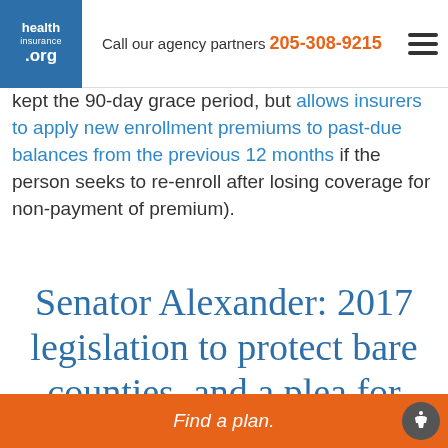health insurance .org — Call our agency partners 205-308-9215
kept the 90-day grace period, but allows insurers to apply new enrollment premiums to past-due balances from the previous 12 months if the person seeks to re-enroll after losing coverage for non-payment of premium).
Senator Alexander: 2017 legislation to protect bare counties, and a plea for CSR funding
Find a plan.